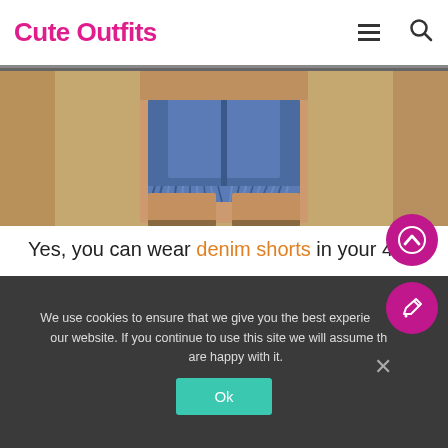Cute Outfits
[Figure (photo): Cropped photo showing person wearing denim shorts on a sandy beach background]
Yes, you can wear denim shorts in your 40s!
Dress it up with a light blazer, then accessorize with cute scarves and handbags.
20. Bright Colors
We use cookies to ensure that we give you the best experience on our website. If you continue to use this site we will assume that you are happy with it.